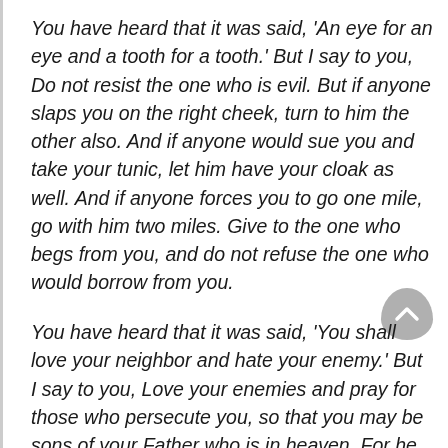You have heard that it was said, ‘An eye for an eye and a tooth for a tooth.’ But I say to you, Do not resist the one who is evil. But if anyone slaps you on the right cheek, turn to him the other also. And if anyone would sue you and take your tunic, let him have your cloak as well. And if anyone forces you to go one mile, go with him two miles. Give to the one who begs from you, and do not refuse the one who would borrow from you.
You have heard that it was said, ‘You shall love your neighbor and hate your enemy.’ But I say to you, Love your enemies and pray for those who persecute you, so that you may be sons of your Father who is in heaven. For he makes his